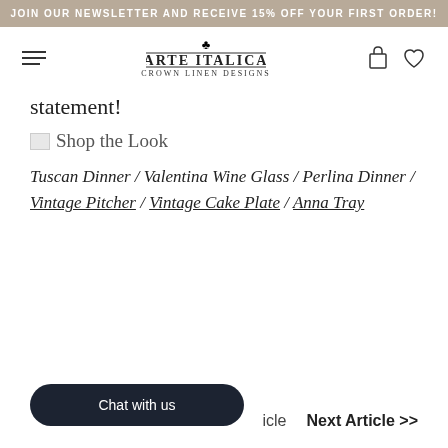JOIN OUR NEWSLETTER AND RECEIVE 15% OFF YOUR FIRST ORDER!
[Figure (logo): Arte Italica Crown Linen Designs logo with crown icon, navigation hamburger menu, shopping bag and heart icons]
statement!
Shop the Look
Tuscan Dinner / Valentina Wine Glass / Perlina Dinner / Vintage Pitcher / Vintage Cake Plate / Anna Tray
Next Article >>